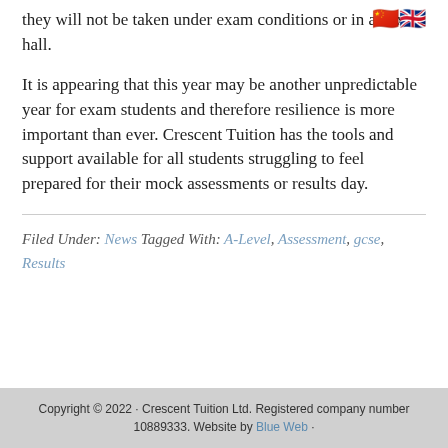they will not be taken under exam conditions or in an exam hall.
It is appearing that this year may be another unpredictable year for exam students and therefore resilience is more important than ever. Crescent Tuition has the tools and support available for all students struggling to feel prepared for their mock assessments or results day.
Filed Under: News Tagged With: A-Level, Assessment, gcse, Results
Copyright © 2022 · Crescent Tuition Ltd. Registered company number 10889333. Website by Blue Web ·